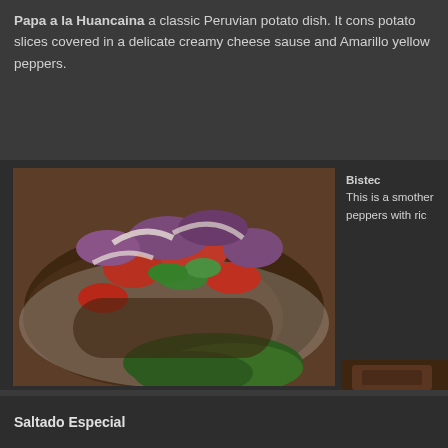Papa a la Huancaina a classic Peruvian potato dish. It cons potato slices covered in a delicate creamy cheese sause and Amarillo yellow peppers.
[Figure (photo): A grilled meat dish topped with red onions, tomatoes, and cilantro, served on a white plate with lettuce garnish]
Bistec This is a smother peppers with ric
[Figure (photo): Close-up of a grilled/seared meat dish with dark charred texture]
Saltado Especial